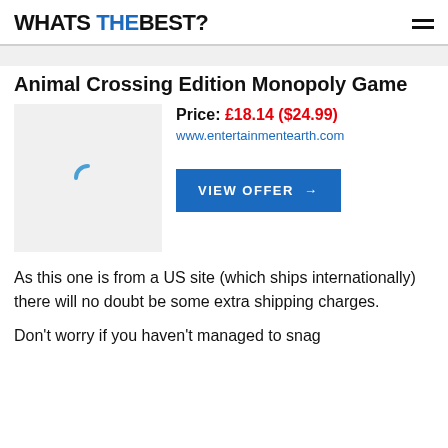WHAT'S THE BEST?
Animal Crossing Edition Monopoly Game
[Figure (photo): Product image placeholder with loading spinner]
Price: £18.14 ($24.99)
www.entertainmentearth.com
VIEW OFFER →
As this one is from a US site (which ships internationally) there will no doubt be some extra shipping charges.
Don't worry if you haven't managed to snag